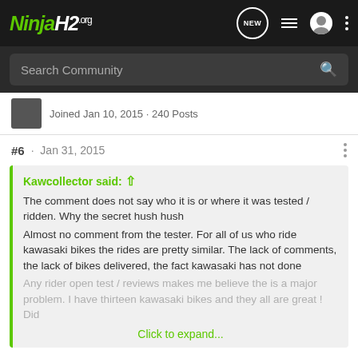[Figure (logo): NinjaH2.org logo in green and white italic text]
Search Community
Joined Jan 10, 2015 · 240 Posts
#6 · Jan 31, 2015
Kawcollector said: ↑
The comment does not say who it is or where it was tested / ridden. Why the secret hush hush
Almost no comment from the tester. For all of us who ride kawasaki bikes the rides are pretty similar. The lack of comments, the lack of bikes delivered, the fact kawasaki has not done
Any rider open test / reviews makes me believe the is a major problem. I have thirteen kawasaki bikes and they all are great ! Did
Click to expand...
Wow, I thought I was the only crazy one, I have 11 Kawi's.
Not disagreeing with you, but this is. It that means 13RI...